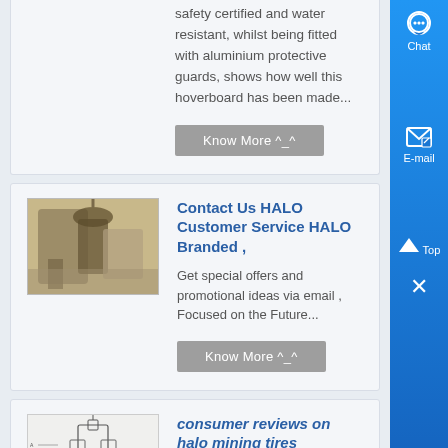safety certified and water resistant, whilst being fitted with aluminium protective guards, shows how well this hoverboard has been made...
Know More ^_^
Contact Us HALO Customer Service HALO Branded ,
[Figure (photo): Industrial facility or machinery photo]
Get special offers and promotional ideas via email , Focused on the Future...
Know More ^_^
consumer reviews on halo mining tires
[Figure (engineering-diagram): Schematic/technical drawing of mining or industrial equipment]
consumer reviews on halo mining tires